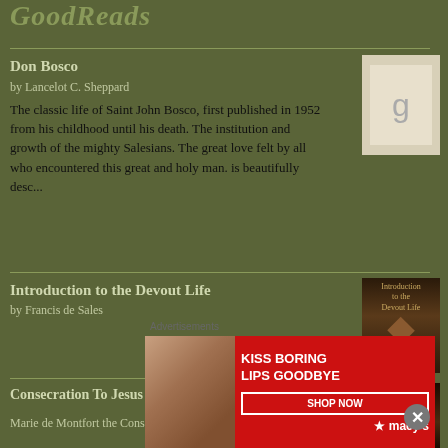GoodReads
Don Bosco
by Lancelot C. Sheppard
The classic life of Saint John Bosco, first published in 1952 from his childhood until his death. The institution and growth of the mighty Salesians. The great love felt by all who encountered this great and holy man. is beautifully desc...
[Figure (illustration): Book cover placeholder with 'g' icon]
Introduction to the Devout Life
by Francis de Sales
[Figure (illustration): Book cover for Introduction to the Devout Life]
Consecration To Jesus Though Mary: St. Louis
Marie de Montfort the Consecration Batches
[Figure (illustration): Book cover for Consecration To Jesus Though Mary]
Advertisements
[Figure (photo): Macy's advertisement: KISS BORING LIPS GOODBYE - SHOP NOW - macy's]